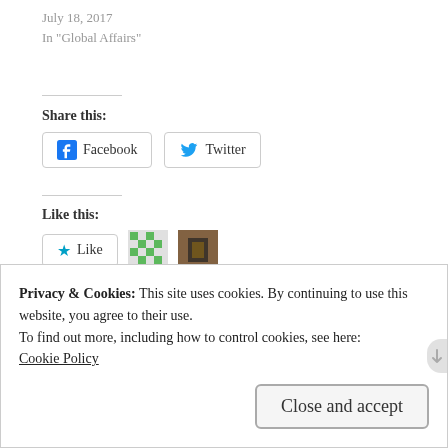July 18, 2017
In "Global Affairs"
Share this:
[Figure (screenshot): Facebook and Twitter share buttons]
Like this:
[Figure (screenshot): Like button with star icon, and two blogger avatars; 2 bloggers like this.]
2 bloggers like this.
[Figure (infographic): Tag arrows: BONDI, E-WASTE, TRAVEL, VEENA, WORLD AFFAIRS]
Privacy & Cookies: This site uses cookies. By continuing to use this website, you agree to their use.
To find out more, including how to control cookies, see here: Cookie Policy
Close and accept